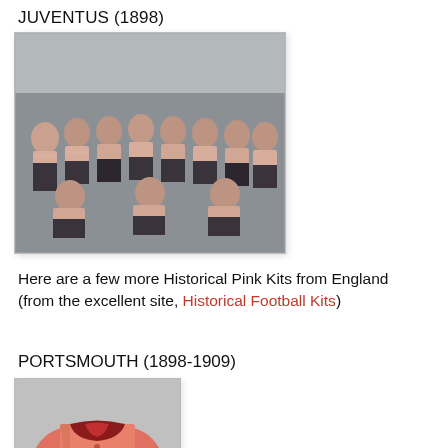JUVENTUS (1898)
[Figure (photo): Historical black and white photograph of Juventus football team from 1898, showing players in pink/salmon striped shirts, some standing and some seated]
Here are a few more Historical Pink Kits from England (from the excellent site, Historical Football Kits)
PORTSMOUTH (1898-1909)
[Figure (illustration): Illustration of a salmon/pink long-sleeved football shirt with dark red collar and buttons, worn with white shorts, representing Portsmouth's historical kit from 1898-1909]